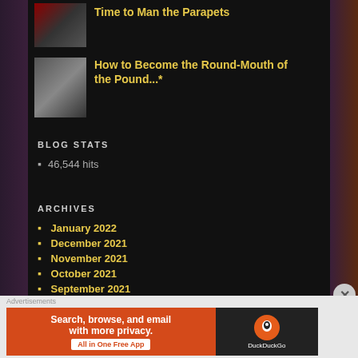[Figure (photo): Small thumbnail image of a crowd scene with red tones]
Time to Man the Parapets
[Figure (photo): Small black and white thumbnail image of soldiers or a historical scene]
How to Become the Round-Mouth of the Pound...*
BLOG STATS
46,544 hits
ARCHIVES
January 2022
December 2021
November 2021
October 2021
September 2021
August 2021
June 2021
Advertisements
[Figure (screenshot): DuckDuckGo advertisement banner: Search, browse, and email with more privacy. All in One Free App]